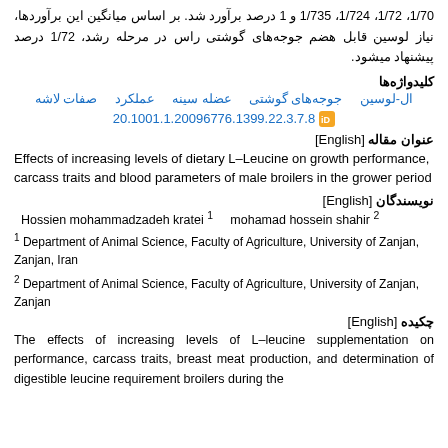1/70، 1/72، 1/724، 1/735 و 1 درصد برآورد شد. بر اساس میانگین این برآوردها، نیاز لوسین قابل هضم جوجه‌های گوشتی راس در مرحله رشد، 1/72 درصد پیشنهاد میشود.
کلیدواژه‌ها
ال-لوسین   جوجه‌های گوشتی   عضله سینه   عملکرد   صفات لاشه
20.1001.1.20096776.1399.22.3.7.8
عنوان مقاله [English]
Effects of increasing levels of dietary L-Leucine on growth performance, carcass traits and blood parameters of male broilers in the grower period
نویسندگان [English]
Hossien mohammadzadeh kratei 1    mohamad hossein shahir 2
1 Department of Animal Science, Faculty of Agriculture, University of Zanjan, Zanjan, Iran
2 Department of Animal Science, Faculty of Agriculture, University of Zanjan, Zanjan
چکیده [English]
The effects of increasing levels of L-leucine supplementation on performance, carcass traits, breast meat production, and determination of digestible leucine requirement broilers during the